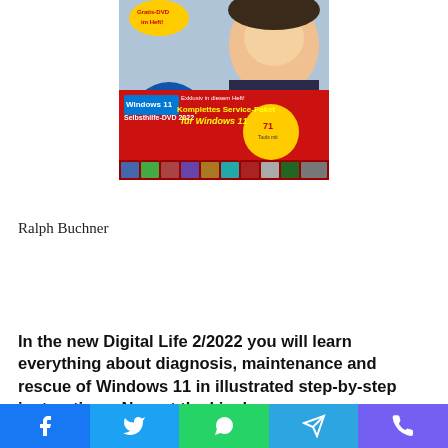[Figure (advertisement): Windows 11 Selbsthilfe-DVD 2022 advertisement showing a magazine cover with a smiling person, a DVD, and text 'Gratis-DVD im Heft!', 'Windows 11 Selbsthilfe-DVD 2022', 'Exklusiv in diesem Heft! Komplettes Service-Paket für Windows 11', '71 Tools']
Ralph Buchner
In the new Digital Life 2/2022 you will learn everything about diagnosis, maintenance and rescue of Windows 11 in illustrated step-by-step instructions. Now at the kiosk
[Figure (infographic): Social media sharing bar with Facebook, Twitter, WhatsApp, Telegram, and Viber buttons]